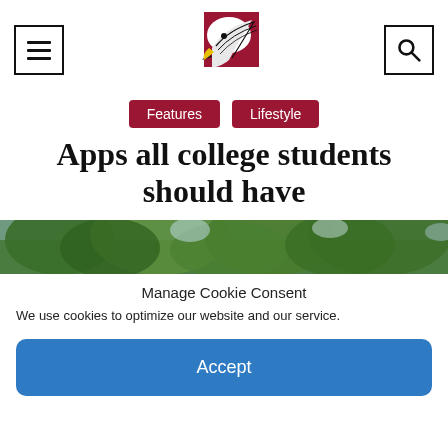[Figure (logo): University eagle mascot logo with red background square]
Features   Lifestyle
Apps all college students should have
[Figure (photo): Outdoor photo showing green trees and sky]
Manage Cookie Consent
We use cookies to optimize our website and our service.
Accept